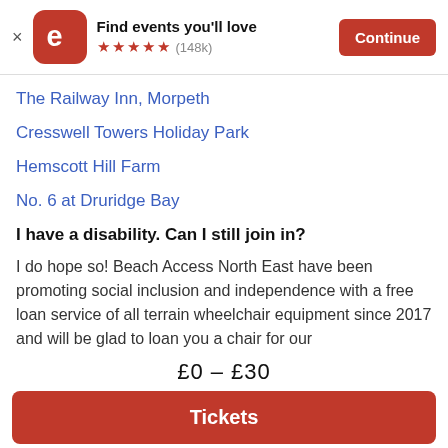Find events you'll love ★★★★★ (148k) Continue
The Railway Inn, Morpeth
Cresswell Towers Holiday Park
Hemscott Hill Farm
No. 6 at Druridge Bay
I have a disability. Can I still join in?
I do hope so! Beach Access North East have been promoting social inclusion and independence with a free loan service of all terrain wheelchair equipment since 2017 and will be glad to loan you a chair for our
£0 – £30
Tickets